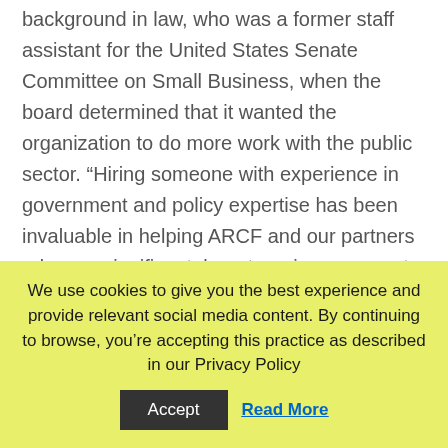background in law, who was a former staff assistant for the United States Senate Committee on Small Business, when the board determined that it wanted the organization to do more work with the public sector. “Hiring someone with experience in government and policy expertise has been invaluable in helping ARCF and our partners advance significant, long-term improvements in our communities,” said Larkin. “We are more sophisticated and our impact is much greater.”

In either case, it’s important that there are staff that
We use cookies to give you the best experience and provide relevant social media content. By continuing to browse, you’re accepting this practice as described in our Privacy Policy
Accept
Read More